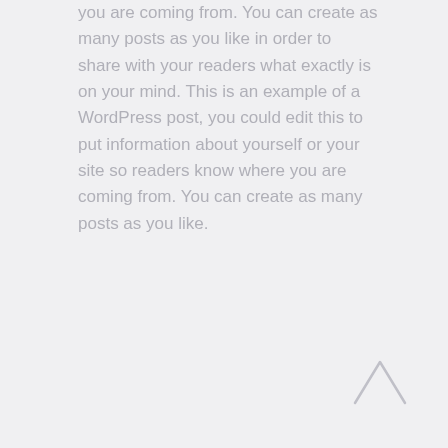you are coming from. You can create as many posts as you like in order to share with your readers what exactly is on your mind. This is an example of a WordPress post, you could edit this to put information about yourself or your site so readers know where you are coming from. You can create as many posts as you like.
[Figure (other): An upward-pointing chevron/arrow icon in light gray, used as a scroll-to-top button, positioned in the bottom-right corner of the page.]